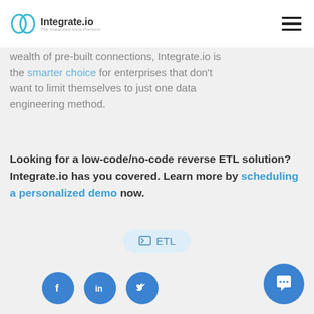Integrate.io — The Integrated Data Platform
wealth of pre-built connections, Integrate.io is the smarter choice for enterprises that don't want to limit themselves to just one data engineering method.
Looking for a low-code/no-code reverse ETL solution? Integrate.io has you covered. Learn more by scheduling a personalized demo now.
ETL
[Figure (logo): Social media icons: Facebook, LinkedIn, Twitter and a chat button]